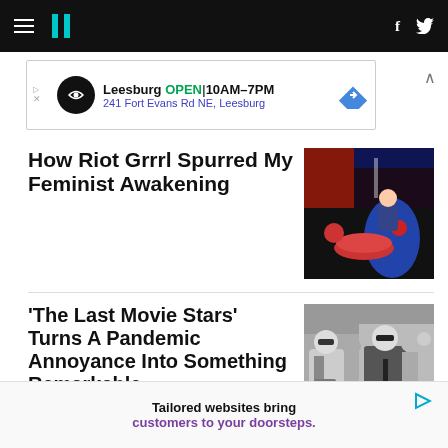HuffPost navigation header with hamburger menu, logo, Facebook and Twitter icons
[Figure (other): Advertisement banner: Leesburg OPEN 10AM-7PM, 241 Fort Evans Rd NE, Leesburg]
How Riot Grrrl Spurred My Feminist Awakening
[Figure (photo): Photo of a woman playing drums on stage with colorful lighting]
‘The Last Movie Stars’ Turns A Pandemic Annoyance Into Something Remarkable
[Figure (photo): Black and white photo of two people walking, wearing sunglasses]
[Figure (other): Advertisement: Tailored websites bring customers to your doorsteps.]